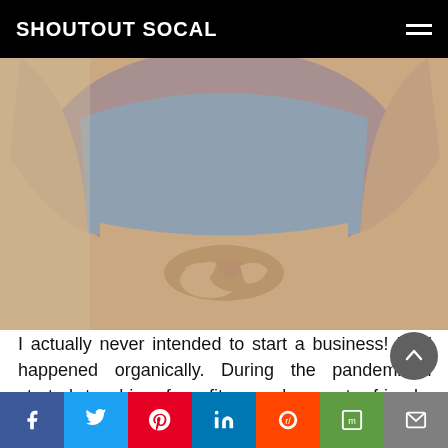SHOUTOUT SOCAL
[Figure (photo): Close-up of a person wearing a grey sports crop top, hands clasped at the midsection, outdoors.]
I actually never intended to start a business! It all happened organically. During the pandemic I started teaching free fitness classes to friends. Those friends invited other friends and shared through social media. A few months later I realized that I needed a more formal platform to keep things going, and thus, Slink Fit was born! When we became official, my biggest goal was to create connection and community. Since we